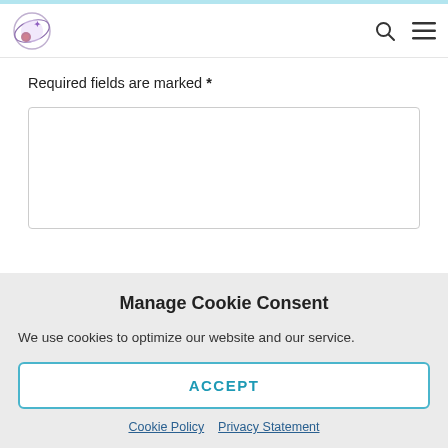Navigation bar with logo, search icon, and menu icon
Required fields are marked *
[Figure (screenshot): Empty comment/text area input box with border]
Manage Cookie Consent
We use cookies to optimize our website and our service.
ACCEPT
Cookie Policy   Privacy Statement